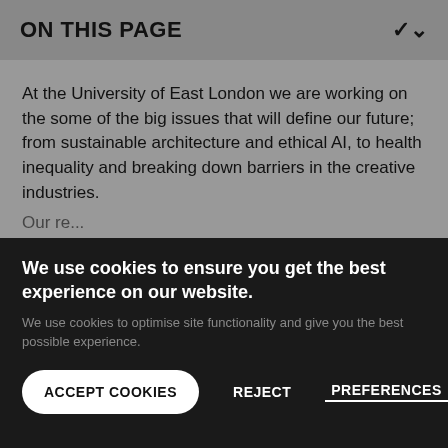ON THIS PAGE
At the University of East London we are working on the some of the big issues that will define our future; from sustainable architecture and ethical AI, to health inequality and breaking down barriers in the creative industries.
We use cookies to ensure you get the best experience on our website.
We use cookies to optimise site functionality and give you the best possible experience.
ACCEPT COOKIES   REJECT   PREFERENCES